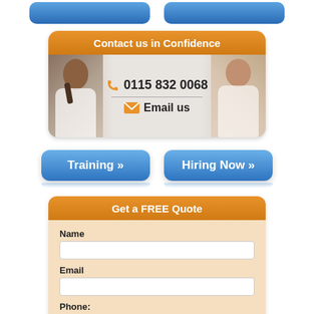[Figure (screenshot): Two blue button stubs partially visible at top of page (cropped)]
[Figure (infographic): Contact us in Confidence box with orange header, phone number 0115 832 0068, Email us link, and photos of two people]
[Figure (screenshot): Two blue buttons: Training >> and Hiring Now >>]
[Figure (infographic): Get a FREE Quote form with orange header and fields for Name, Email, Phone, When to Call]